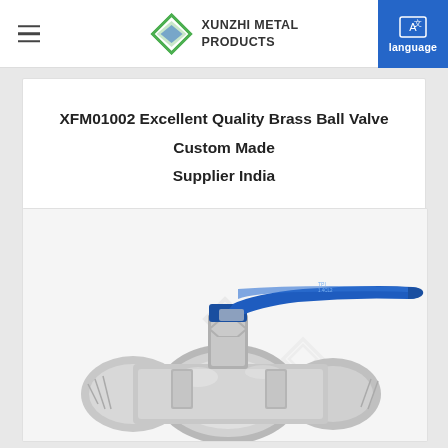XUNZHI METAL PRODUCTS | language
XFM01002 Excellent Quality Brass Ball Valve Custom Made Supplier India
[Figure (photo): Photograph of a brass ball valve with blue lever handle, shown in close-up. The valve body is silver/chrome colored with threaded male and female ends, and features a blue anodized aluminum lever handle on top. A watermark logo is visible in the center of the image.]